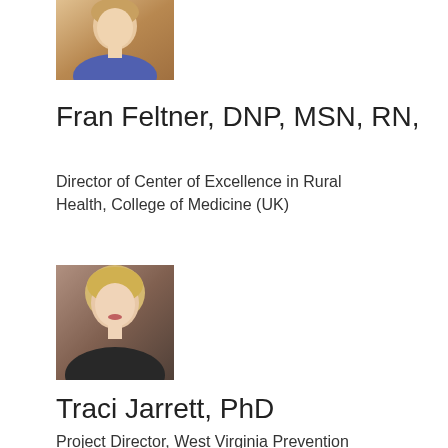[Figure (photo): Headshot photo of Fran Feltner, a woman with short blonde hair, wearing a blue top, light background]
Fran Feltner, DNP, MSN, RN,
Director of Center of Excellence in Rural Health, College of Medicine (UK)
[Figure (photo): Headshot photo of Traci Jarrett, a woman with blonde hair, wearing a black top, brownish background]
Traci Jarrett, PhD
Project Director, West Virginia Prevention